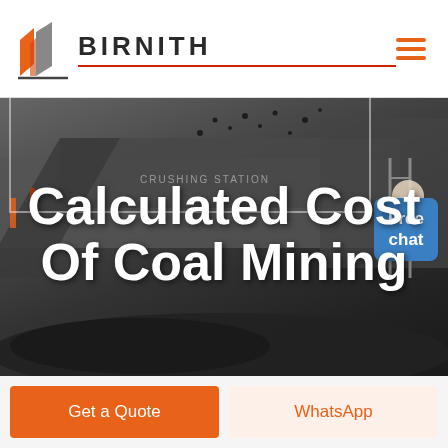BIRNITH
[Figure (photo): Coal crushing station machinery with coal falling, dark industrial background with heavy mining equipment. A woman in white jacket appears on right side near the Free chat bubble.]
Calculated Cost Of Coal Mining
Free chat
Get a Quote
WhatsApp